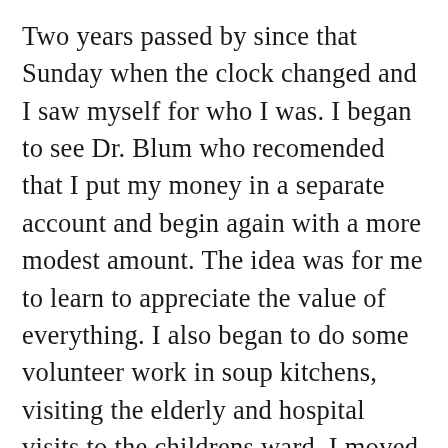Two years passed by since that Sunday when the clock changed and I saw myself for who I was. I began to see Dr. Blum who recomended that I put my money in a separate account and begin again with a more modest amount. The idea was for me to learn to appreciate the value of everything. I also began to do some volunteer work in soup kitchens, visiting the elderly and hospital visits to the childrens ward. I moved into a smaller apartment in a different neighborhood, still not so modest but more fitting to what I was trying to accomplish. I furnished my apartment from IKEA and gave away the old stuff to charities.